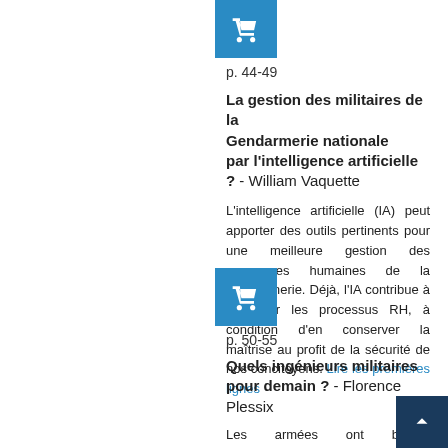[Figure (other): Blue shopping cart icon button]
p. 44-49
La gestion des militaires de la Gendarmerie nationale par l'intelligence artificielle ? - William Vaquette
L'intelligence artificielle (IA) peut apporter des outils pertinents pour une meilleure gestion des ressources humaines de la Gendarmerie. Déjà, l'IA contribue à améliorer les processus RH, à condition d'en conserver la maîtrise au profit de la sécurité de nos concitoyens. Lire les premières lignes
[Figure (other): Blue shopping cart icon button]
p. 50-55
Quels ingénieurs militaires pour demain ? - Florence Plessix
Les armées ont besoin d'ingénieurs militaires pour préparer les forces de demain. Cela doit s'inscrire dans la durée d'une réflexion...